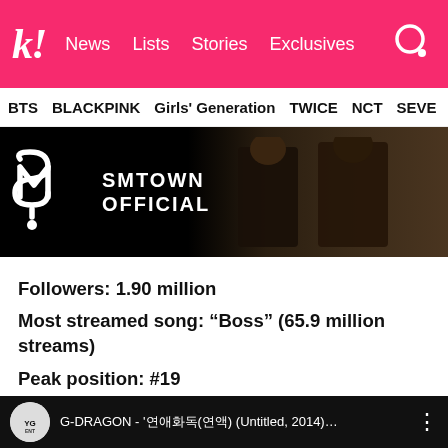k! News  Lists  Stories  Exclusives
BTS  BLACKPINK  Girls' Generation  TWICE  NCT  SEVE…
[Figure (screenshot): SMTOWN Official YouTube channel banner showing logo on dark background with people in dark clothing on right side]
Followers: 1.90 million
Most streamed song: “Boss” (65.9 million streams)
Peak position: #19
19. G-Dragon
[Figure (screenshot): G-DRAGON YouTube video thumbnail showing: G-DRAGON - '연애화독(연액) (Untitled, 2014)...' with YG logo circle on left and three-dot menu on right]